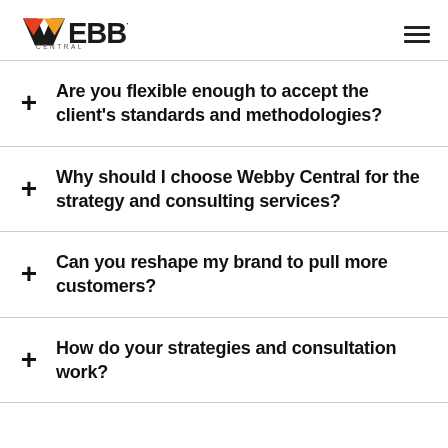WEBBY CENTRAL
Are you flexible enough to accept the client's standards and methodologies?
Why should I choose Webby Central for the strategy and consulting services?
Can you reshape my brand to pull more customers?
How do your strategies and consultation work?